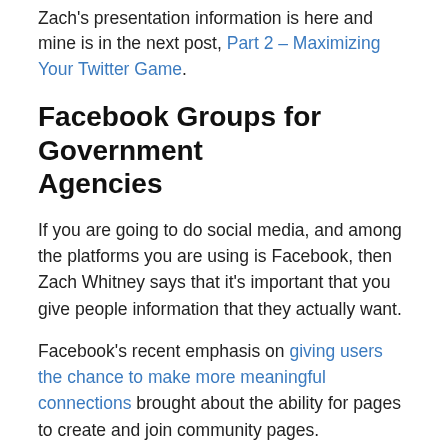Zach's presentation information is here and mine is in the next post, Part 2 – Maximizing Your Twitter Game.
Facebook Groups for Government Agencies
If you are going to do social media, and among the platforms you are using is Facebook, then Zach Whitney says that it's important that you give people information that they actually want.
Facebook's recent emphasis on giving users the chance to make more meaningful connections brought about the ability for pages to create and join community pages.
Zach's slides are here, and you can see his takeaways below.